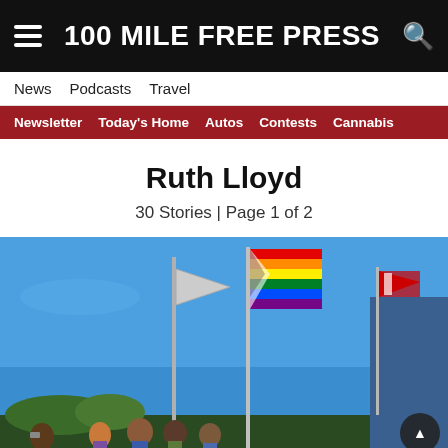100 MILE FREE PRESS
News  Podcasts  Travel
Newsletter  Today's Home  Autos  Contests  Cannabis
Ruth Lloyd
30 Stories | Page 1 of 2
[Figure (photo): Outdoor photo showing three flagpoles against a blue sky. The center pole flies a rainbow Pride flag, the left pole flies a grey/white flag, and the right pole flies a Canadian provincial flag. People stand at the base of the poles, one person is photographing with a phone. A blue building is visible at the right edge.]